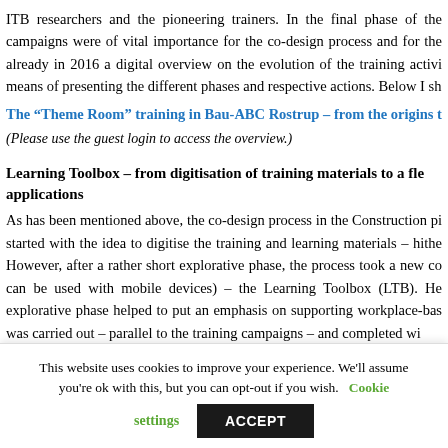ITB researchers and the pioneering trainers. In the final phase of the campaigns were of vital importance for the co-design process and for the already in 2016 a digital overview on the evolution of the training activi means of presenting the different phases and respective actions. Below I sh
The “Theme Room” training in Bau-ABC Rostrup – from the origins t
(Please use the guest login to access the overview.)
Learning Toolbox – from digitisation of training materials to a fle applications
As has been mentioned above, the co-design process in the Construction pi started with the idea to digitise the training and learning materials – hithe However, after a rather short explorative phase, the process took a new co can be used with mobile devices) – the Learning Toolbox (LTB). He explorative phase helped to put an emphasis on supporting workplace-bas was carried out – parallel to the training campaigns – and completed wi
This website uses cookies to improve your experience. We'll assume you're ok with this, but you can opt-out if you wish. Cookie settings ACCEPT